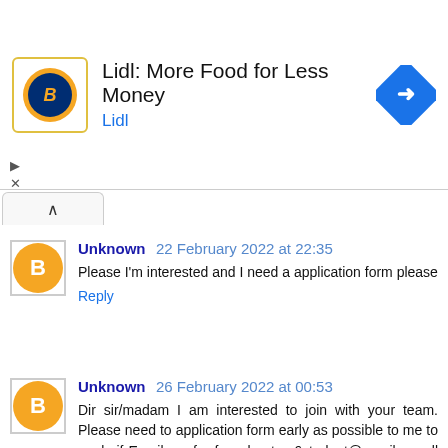[Figure (infographic): Lidl advertisement banner with Lidl logo, text 'Lidl: More Food for Less Money' and 'Lidl', and a blue diamond navigation icon on the right.]
Unknown 22 February 2022 at 22:35
Please I'm interested and I need a application form please
Reply
Unknown 26 February 2022 at 00:53
Dir sir/madam I am interested to join with your team. Please need to application form early as possible to me to apply if Email me for form bentom6student@gmail.or call 71268593.
Reply
Unknown 2 March 2022 at 19:35